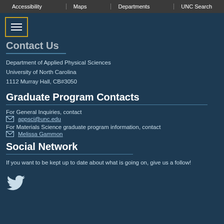Accessibility | Maps | Departments | UNC Search
[Figure (other): Hamburger menu button with three horizontal lines inside a yellow-bordered box]
Contact Us
Department of Applied Physical Sciences
University of North Carolina
1112 Murray Hall, CB#3050
Graduate Program Contacts
For General Inquiries, contact
appsci@unc.edu
For Materials Science graduate program information, contact
Melissa Gammon
Social Network
If you want to be kept up to date about what is going on, give us a follow!
[Figure (logo): Twitter bird logo icon in white/light color]